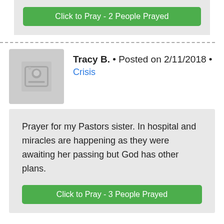Click to Pray - 2 People Prayed
Tracy B. • Posted on 2/11/2018 • Crisis
Prayer for my Pastors sister. In hospital and miracles are happening as they were awaiting her passing but God has other plans.
Click to Pray - 3 People Prayed